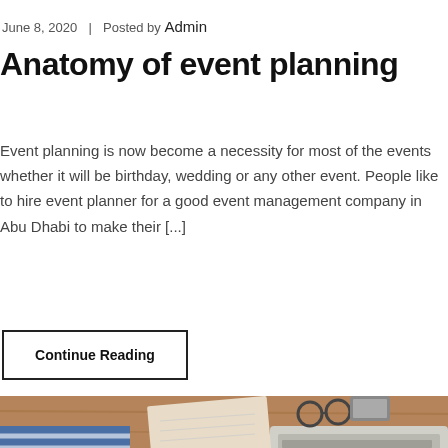June 8, 2020  |  Posted by Admin
Anatomy of event planning
Event planning is now become a necessity for most of the events whether it will be birthday, wedding or any other event. People like to hire event planner for a good event management company in Abu Dhabi to make their [...]
Continue Reading
[Figure (photo): Person typing on a laptop at a wooden desk with a notebook, glasses, and a phone visible]